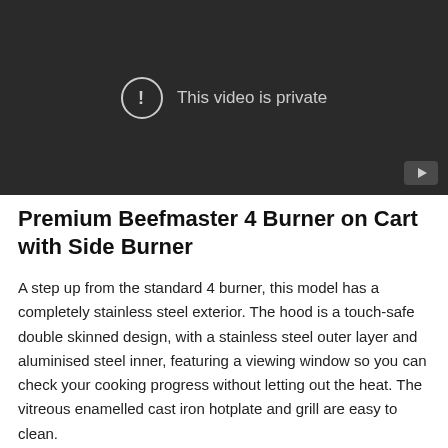[Figure (screenshot): Dark video player showing 'This video is private' message with exclamation icon and YouTube play button in bottom right corner]
Premium Beefmaster 4 Burner on Cart with Side Burner
A step up from the standard 4 burner, this model has a completely stainless steel exterior. The hood is a touch-safe double skinned design, with a stainless steel outer layer and aluminised steel inner, featuring a viewing window so you can check your cooking progress without letting out the heat. The vitreous enamelled cast iron hotplate and grill are easy to clean.